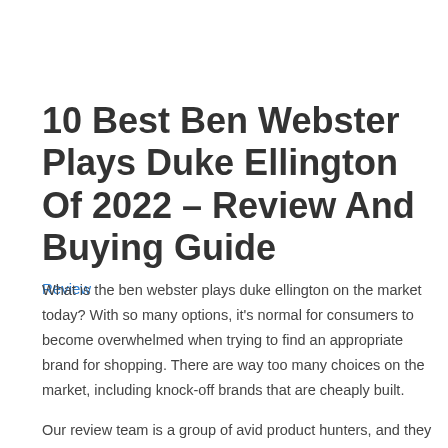10 Best Ben Webster Plays Duke Ellington Of 2022 – Review And Buying Guide
Review
What is the ben webster plays duke ellington on the market today? With so many options, it's normal for consumers to become overwhelmed when trying to find an appropriate brand for shopping. There are way too many choices on the market, including knock-off brands that are cheaply built.
Our review team is a group of avid product hunters, and they want